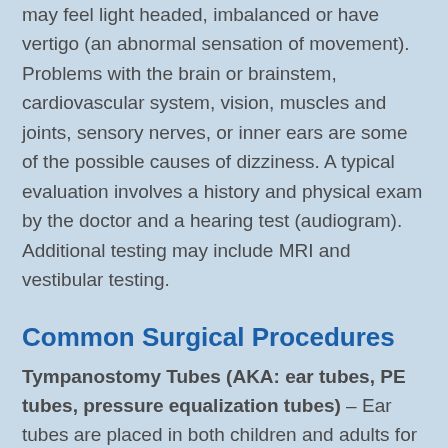may feel light headed, imbalanced or have vertigo (an abnormal sensation of movement). Problems with the brain or brainstem, cardiovascular system, vision, muscles and joints, sensory nerves, or inner ears are some of the possible causes of dizziness. A typical evaluation involves a history and physical exam by the doctor and a hearing test (audiogram). Additional testing may include MRI and vestibular testing.
Common Surgical Procedures
Tympanostomy Tubes (AKA: ear tubes, PE tubes, pressure equalization tubes) – Ear tubes are placed in both children and adults for a variety of reasons. The most common reasons for